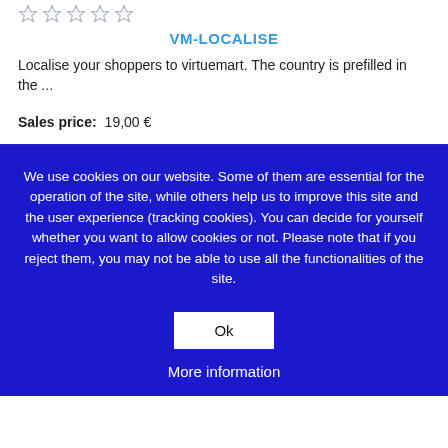[Figure (other): Five empty/unfilled star rating icons in a row]
VM-LOCALISE
Localise your shoppers to virtuemart. The country is prefilled in the ...
Sales price:   19,00 €
We use cookies on our website. Some of them are essential for the operation of the site, while others help us to improve this site and the user experience (tracking cookies). You can decide for yourself whether you want to allow cookies or not. Please note that if you reject them, you may not be able to use all the functionalities of the site.
Ok
More information